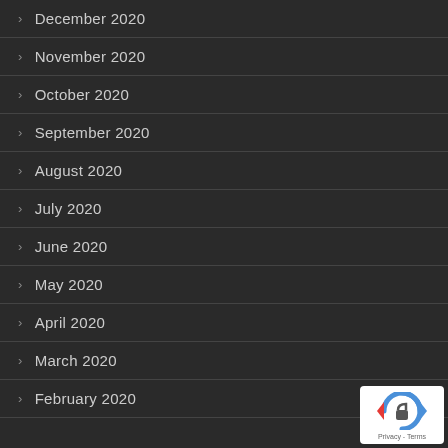December 2020
November 2020
October 2020
September 2020
August 2020
July 2020
June 2020
May 2020
April 2020
March 2020
February 2020
[Figure (logo): reCAPTCHA badge with Privacy and Terms links]